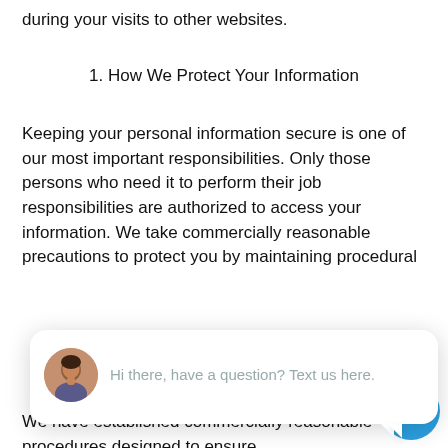during your visits to other websites.
1. How We Protect Your Information
Keeping your personal information secure is one of our most important responsibilities. Only those persons who need it to perform their job responsibilities are authorized to access your information. We take commercially reasonable precautions to protect you by maintaining procedural
[Figure (screenshot): Live chat widget popup with 'close' button, avatar of a woman, and message 'Hi there, have a question? Text us here.' with a blue circular chat icon button.]
1. Maintenance of Accurate Information
We have established commercially reasonable procedures designed to ensure